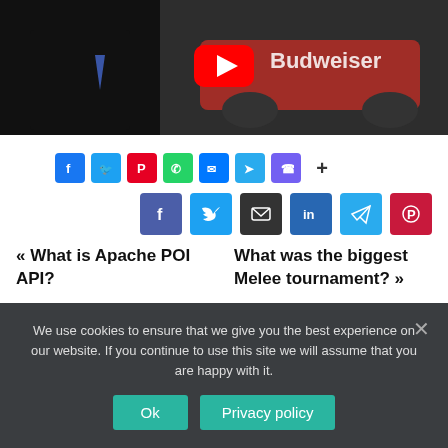[Figure (screenshot): YouTube video thumbnail showing a man in a suit holding a microphone and a NASCAR Budweiser race car]
Facebook Twitter Pinterest WhatsApp Messenger Telegram Viber Share
[Figure (infographic): Social share buttons: Facebook, Twitter, Email, LinkedIn, Telegram, Pinterest]
« What is Apache POI API?
What was the biggest Melee tournament? »
We use cookies to ensure that we give you the best experience on our website. If you continue to use this site we will assume that you are happy with it.
Ok   Privacy policy